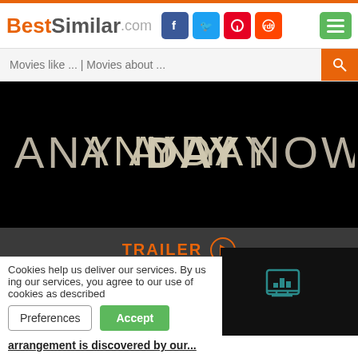BestSimilar.com
Movies like ... | Movies about ...
[Figure (photo): Movie poster for 'Any Day Now' — white text on black background reading 'ANYDAYNOW']
TRAILER
Genre: Drama
Country: USA
Duration: 98 min.
Cookies help us deliver our services. By using our services, you agree to our use of cookies as described
arrangement is discovered by our...